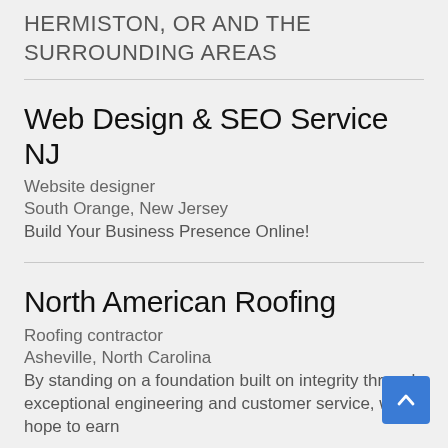HERMISTON, OR AND THE SURROUNDING AREAS
Web Design & SEO Service NJ
Website designer
South Orange, New Jersey
Build Your Business Presence Online!
North American Roofing
Roofing contractor
Asheville, North Carolina
By standing on a foundation built on integrity through exceptional engineering and customer service, we hope to earn